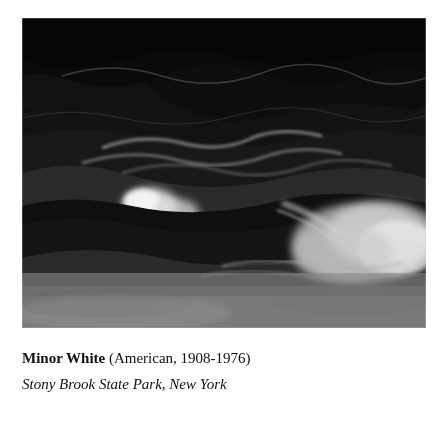[Figure (photo): Black and white photograph of water flowing over rocks at Stony Brook State Park, New York. The image shows abstract swirling patterns of water with dark rocks and white foam, creating dramatic contrast between light and shadow.]
Minor White (American, 1908-1976)
Stony Brook State Park, New York